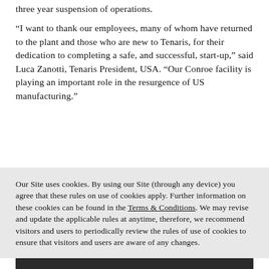three year suspension of operations.
“I want to thank our employees, many of whom have returned to the plant and those who are new to Tenaris, for their dedication to completing a safe, and successful, start-up,” said Luca Zanotti, Tenaris President, USA. “Our Conroe facility is playing an important role in the resurgence of US manufacturing.”
Our Site uses cookies. By using our Site (through any device) you agree that these rules on use of cookies apply. Further information on these cookies can be found in the Terms & Conditions. We may revise and update the applicable rules at anytime, therefore, we recommend visitors and users to periodically review the rules of use of cookies to ensure that visitors and users are aware of any changes.